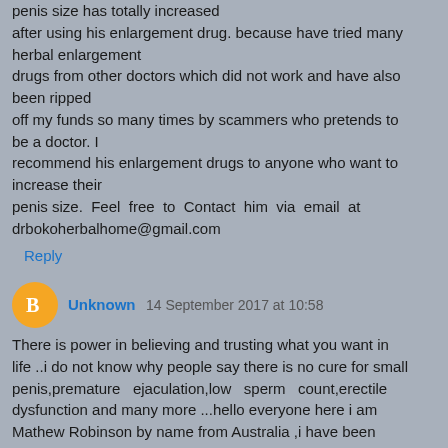penis size has totally increased after using his enlargement drug. because have tried many herbal enlargement drugs from other doctors which did not work and have also been ripped off my funds so many times by scammers who pretends to be a doctor. I recommend his enlargement drugs to anyone who want to increase their penis size. Feel free to Contact him via email at drbokoherbalhome@gmail.com
Reply
Unknown 14 September 2017 at 10:58
There is power in believing and trusting what you want in life ..i do not know why people say there is no cure for small penis,premature ejaculation,low sperm count,erectile dysfunction and many more ...hello everyone here i am Mathew Robinson by name from Australia ,i have been battling with my small penis and erectile dysfunction over 7years of my marriage now ..i search for cure took